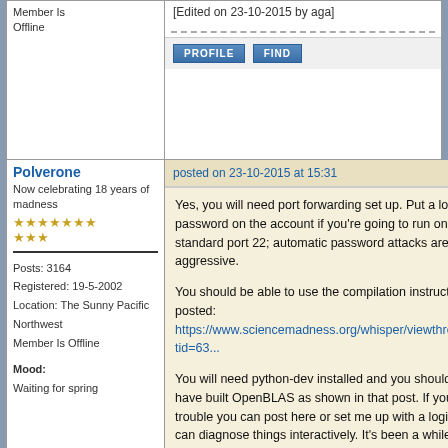[Edited on 23-10-2015 by aga]
PROFILE   FIND
Polverone
Now celebrating 18 years of madness ★★★★★★★★★
Posts: 3164
Registered: 19-5-2002
Location: The Sunny Pacific Northwest
Member Is Offline
Mood: Waiting for spring
posted on 23-10-2015 at 15:31
Yes, you will need port forwarding set up. Put a long password on the account if you're going to run on the standard port 22; automatic password attacks are pretty aggressive.

You should be able to use the compilation instructions I posted:
https://www.sciencemadness.org/whisper/viewthread.php?tid=63...

You will need python-dev installed and you should already have built OpenBLAS as shown in that post. If you run into trouble you can post here or set me up with a login so I can diagnose things interactively. It's been a while since I had to do initial machine setup for building NWChem. It's not complicated but I'm not sure I remember what the non-default dependencies are.